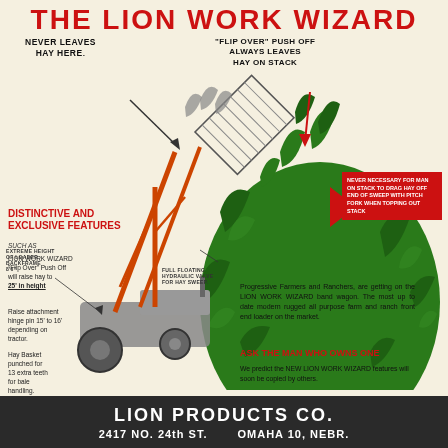THE LION WORK WIZARD
NEVER LEAVES HAY HERE
"FLIP OVER" PUSH OFF ALWAYS LEAVES HAY ON STACK
[Figure (illustration): Illustration of the Lion Work Wizard front-end loader on a tractor lifting hay, with a large green haystack beside it. Red arrows and callout labels indicate features including: NEVER LEAVES HAY HERE, FLIP OVER PUSH OFF ALWAYS LEAVES HAY ON STACK, FULL FLOATING HYDRAULIC VALVE FOR HAY SWEEP, EXTREME HEIGHT OF LOADER BACKFRAME 8'6"]
NEVER NECESSARY FOR MAN ON STACK TO DRAG HAY OFF END OF SWEEP WITH PITCH FORK WHEN TOPPING OUT STACK
DISTINCTIVE AND EXCLUSIVE FEATURES
SUCH AS
LION WORK WIZARD "Flip Over" Push Off will raise hay to 25' in height
Raise attachment hinge pin 15' to 16' depending on tractor
Hay Basket punched for 13 extra teeth for bale handling
Progressive Farmers and Ranchers, are getting on the LION WORK WIZARD band wagon. The most up to date modern rugged all purpose farm and ranch front end loader on the market.
ASK THE MAN WHO OWNS ONE
We predict the NEW LION WORK WIZARD features will soon be copied by others.
LION PRODUCTS CO. 2417 NO. 24th ST. OMAHA 10, NEBR.